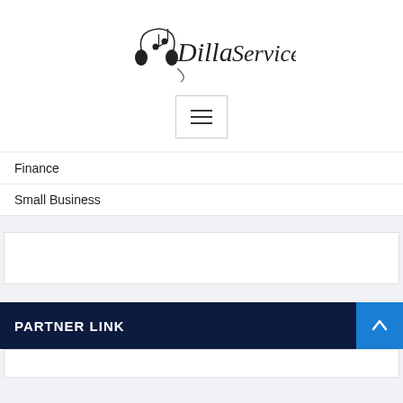[Figure (logo): DillaService logo with musical note headphone icon and cursive text]
[Figure (other): Hamburger menu button with three horizontal lines]
Finance
Small Business
PARTNER LINK